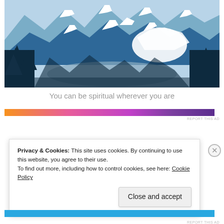[Figure (illustration): Stylized mountain landscape illustration with blue layered mountains, snow peaks, dark pine trees in foreground, and a misty lake/valley in the middle ground. Blue and white color scheme.]
You can be spiritual wherever you are
[Figure (infographic): Horizontal advertisement banner with gradient from orange to purple.]
REPORT THIS AD
Privacy & Cookies: This site uses cookies. By continuing to use this website, you agree to their use.
To find out more, including how to control cookies, see here: Cookie Policy
Close and accept